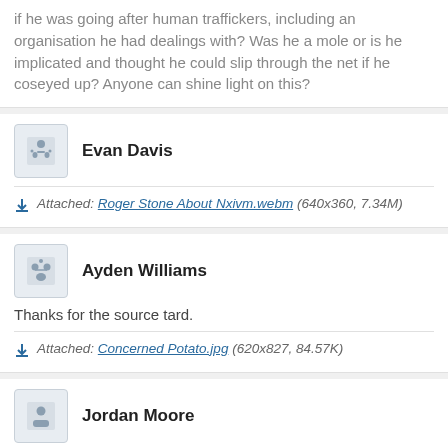if he was going after human traffickers, including an organisation he had dealings with? Was he a mole or is he implicated and thought he could slip through the net if he coseyed up? Anyone can shine light on this?
Evan Davis
Attached: Roger Stone About Nxivm.webm (640x360, 7.34M)
Ayden Williams
Thanks for the source tard.
Attached: Concerned Potato.jpg (620x827, 84.57K)
Jordan Moore
...